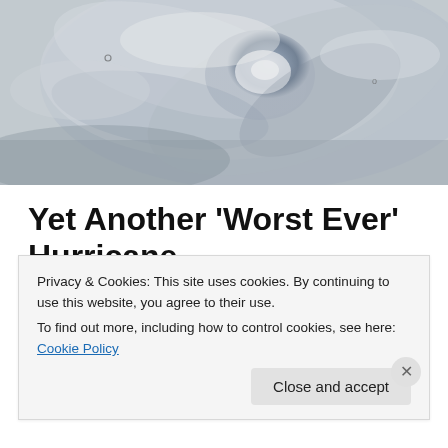[Figure (photo): Aerial satellite view of a hurricane/cyclone from above, showing the spiral cloud formation and eye of the storm in black and white/grayscale.]
Yet Another ‘Worst Ever’ Hurricane
It’s official: every cyclone or hurricane these days is the worst, strongest, most powerful [insert hyperbolic untruth of your choice] EVER!
Privacy & Cookies: This site uses cookies. By continuing to use this website, you agree to their use.
To find out more, including how to control cookies, see here: Cookie Policy